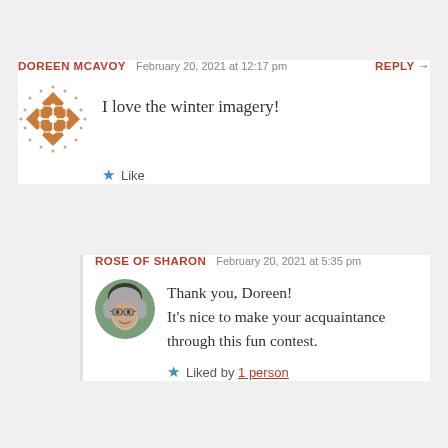DOREEN MCAVOY   February 20, 2021 at 12:17 pm   REPLY →
[Figure (illustration): Diamond-shaped avatar with quilt pattern in brown/orange and white dots]
I love the winter imagery!
★ Like
ROSE OF SHARON   February 20, 2021 at 5:35 pm
[Figure (photo): Circular avatar photo of an older woman with gray hair and glasses]
Thank you, Doreen!
It's nice to make your acquaintance through this fun contest.
★ Liked by 1 person